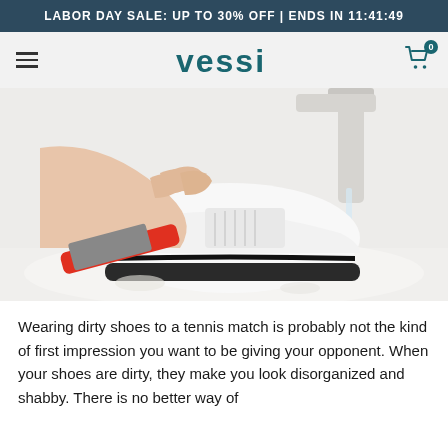LABOR DAY SALE: UP TO 30% OFF | ENDS IN 11:41:49
[Figure (logo): Vessi brand navigation bar with hamburger menu on left, Vessi logo in center, cart icon with badge 0 on right]
[Figure (photo): Hands scrubbing a white canvas sneaker with a red-handled brush over a white sink, water running]
Wearing dirty shoes to a tennis match is probably not the kind of first impression you want to be giving your opponent. When your shoes are dirty, they make you look disorganized and shabby. There is no better way of